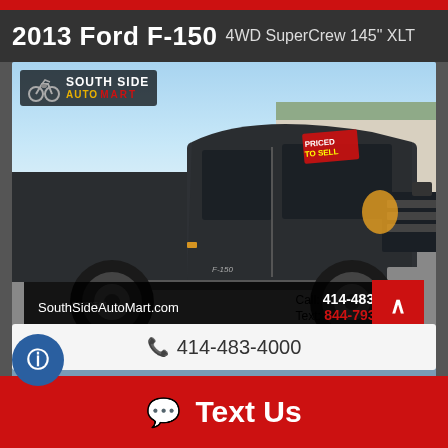2013 Ford F-150 4WD SuperCrew 145" XLT
[Figure (photo): Photo of a 2013 Ford F-150 dark grey/black truck parked at South Side Auto Mart dealership lot. The truck is facing right. The South Side Auto Mart logo is overlaid in the top-left corner. Bottom bar shows website SouthSideAutoMart.com, phone Call: 414-483-4000, Text: 844-793-05XX]
📞 414-483-4000
💬 Text Us